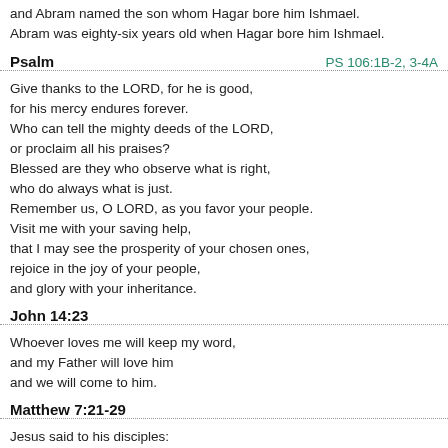and Abram named the son whom Hagar bore him Ishmael. Abram was eighty-six years old when Hagar bore him Ishmael.
Psalm  PS 106:1B-2, 3-4A
Give thanks to the LORD, for he is good,
for his mercy endures forever.
Who can tell the mighty deeds of the LORD,
or proclaim all his praises?
Blessed are they who observe what is right,
who do always what is just.
Remember us, O LORD, as you favor your people.
Visit me with your saving help,
that I may see the prosperity of your chosen ones,
rejoice in the joy of your people,
and glory with your inheritance.
John 14:23
Whoever loves me will keep my word,
and my Father will love him
and we will come to him.
Matthew 7:21-29
Jesus said to his disciples:
“Not everyone who says to me, ‘Lord, Lord,’
will enter the Kingdom of heaven,
but only the one who does the will of my Father in heaven.
Many will say to me on that day,
‘Lord, Lord, did we not prophesy in your name?
Did we not drive out demons in your name?